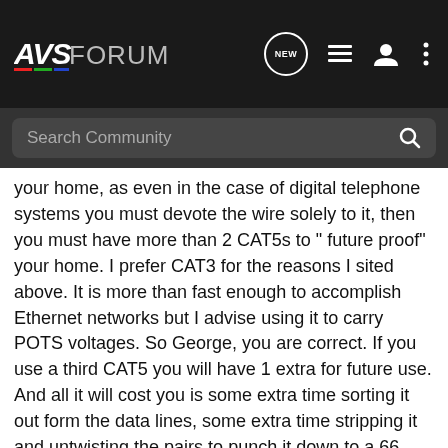AVS FORUM — navigation header with search bar
your home, as even in the case of digital telephone systems you must devote the wire solely to it, then you must have more than 2 CAT5s to " future proof" your home. I prefer CAT3 for the reasons I sited above. It is more than fast enough to accomplish Ethernet networks but I advise using it to carry POTS voltages. So George, you are correct. If you use a third CAT5 you will have 1 extra for future use. And all it will cost you is some extra time sorting it out form the data lines, some extra time stripping it and untwisting the pairs to punch it down to a 66 block, and maybe some time trouble shooting if one of the wires breaks while punching it down.
And wha...nience of not ha...nnot
[Figure (other): TCL advertisement banner: TCL logo | LIVE LARGE. Big screens up to 98" SHOP NOW]